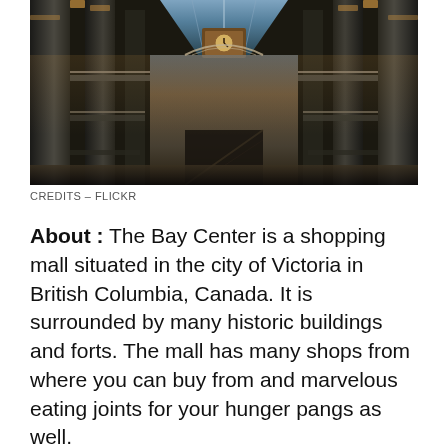[Figure (photo): Interior of The Bay Center shopping mall, looking upward at a glass atrium ceiling with a large clock, tall white columns, multi-level balconies, and ornate architectural details with warm lighting.]
CREDITS – FLICKR
About : The Bay Center is a shopping mall situated in the city of Victoria in British Columbia, Canada. It is surrounded by many historic buildings and forts. The mall has many shops from where you can buy from and marvelous eating joints for your hunger pangs as well.